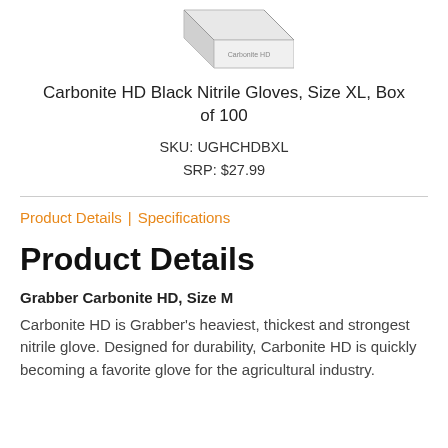[Figure (photo): Partial image of a box of Carbonite HD Black Nitrile Gloves, shown from top/corner angle, on white background]
Carbonite HD Black Nitrile Gloves, Size XL, Box of 100
SKU: UGHCHDBXL
SRP: $27.99
Product Details | Specifications
Product Details
Grabber Carbonite HD, Size M
Carbonite HD is Grabber's heaviest, thickest and strongest nitrile glove. Designed for durability, Carbonite HD is quickly becoming a favorite glove for the agricultural industry.